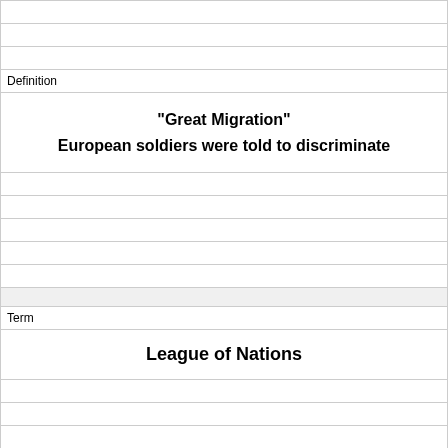|  |  |
|  |  |
|  |  |
| Definition | "Great Migration"
European soldiers were told to discriminate |
|  |  |
|  |  |
|  |  |
|  |  |
|  |  |
|  |  |
|  |  |
| Term | League of Nations |
|  |  |
|  |  |